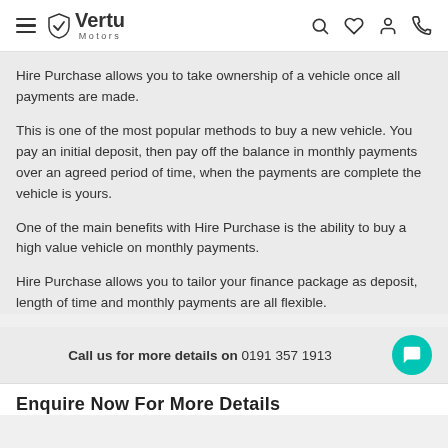Vertu Motors — navigation bar with hamburger menu, logo, search, wishlist, account, phone icons
Hire Purchase allows you to take ownership of a vehicle once all payments are made.
This is one of the most popular methods to buy a new vehicle. You pay an initial deposit, then pay off the balance in monthly payments over an agreed period of time, when the payments are complete the vehicle is yours.
One of the main benefits with Hire Purchase is the ability to buy a high value vehicle on monthly payments.
Hire Purchase allows you to tailor your finance package as deposit, length of time and monthly payments are all flexible.
Call us for more details on 0191 357 1913
Enquire Now For More Details